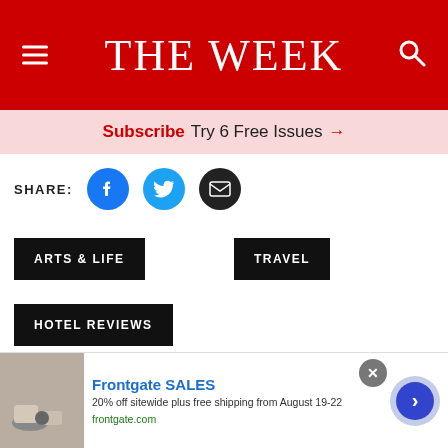THE WEEK
Subscribe Try 6 Free Issues →
SHARE:
ARTS & LIFE
TRAVEL
HOTEL REVIEWS
Advertisement
Read
[Figure (screenshot): Frontgate SALES advertisement banner: 20% off sitewide plus free shipping from August 19-22, frontgate.com, with outdoor furniture image and navigation arrow]